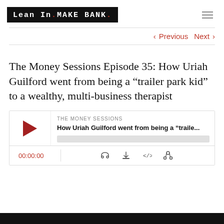Lean In.MAKE BANK.
< Previous   Next >
The Money Sessions Episode 35: How Uriah Guilford went from being a “trailer park kid” to a wealthy, multi-business therapist
[Figure (other): Podcast player widget showing THE MONEY SESSIONS episode titled 'How Uriah Guilford went from being a “traile...' with a dark red play button triangle, a progress bar, time display showing 00:00:00, and control icons for RSS, download, embed code, and share.]